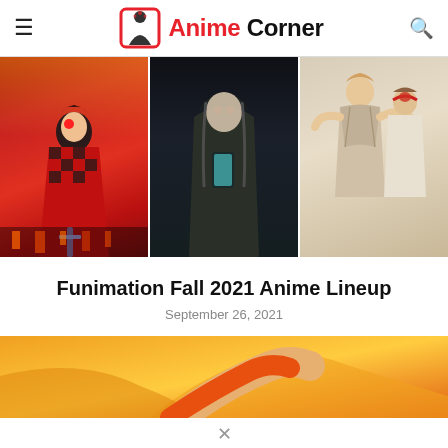Anime Corner
[Figure (illustration): Three-panel anime banner showing characters from fall 2021 anime: left panel shows a red-clad demon slayer character, center panel shows a dark-hooded figure holding a phone, right panel shows action characters in grey/white robes]
Funimation Fall 2021 Anime Lineup
September 26, 2021
[Figure (illustration): Orange/yellow toned anime character image cropped at bottom of page]